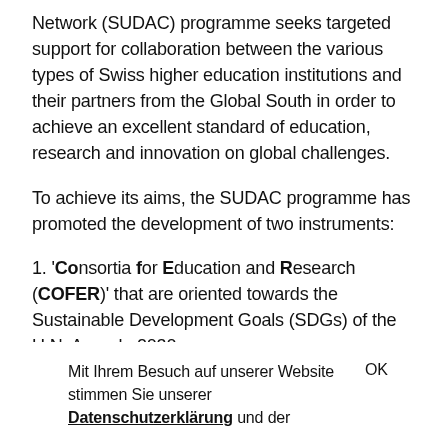Network (SUDAC) programme seeks targeted support for collaboration between the various types of Swiss higher education institutions and their partners from the Global South in order to achieve an excellent standard of education, research and innovation on global challenges.
To achieve its aims, the SUDAC programme has promoted the development of two instruments:
1. 'Consortia for Education and Research (COFER)' that are oriented towards the Sustainable Development Goals (SDGs) of the U.N. Agenda 2030
Mit Ihrem Besuch auf unserer Website stimmen Sie unserer Datenschutzerklärung und der